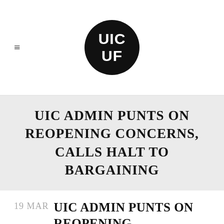UIC UF logo
UIC ADMIN PUNTS ON REOPENING CONCERNS, CALLS HALT TO BARGAINING
19 MAR UIC ADMIN PUNTS ON REOPENING CONCERNS, CALLS HALT TO BARGAINING
Posted at 17:32h in Uncategorized by Tony